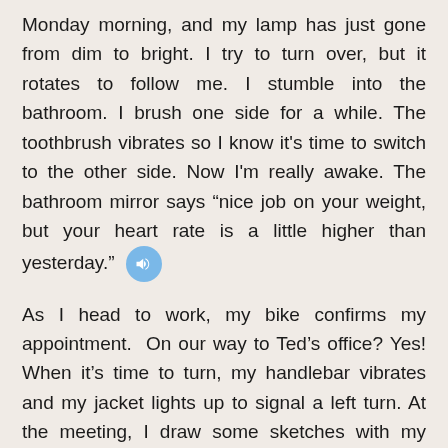Monday morning, and my lamp has just gone from dim to bright. I try to turn over, but it rotates to follow me. I stumble into the bathroom. I brush one side for a while. The toothbrush vibrates so I know it's time to switch to the other side. Now I'm really awake. The bathroom mirror says “nice job on your weight, but your heart rate is a little higher than yesterday.” [audio button]
As I head to work, my bike confirms my appointment. On our way to Ted’s office? Yes! When it’s time to turn, my handlebar vibrates and my jacket lights up to signal a left turn. At the meeting, I draw some sketches with my memory pen. When we’re done, it